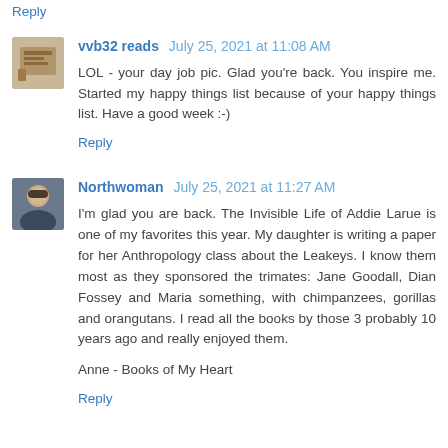Reply
vvb32 reads  July 25, 2021 at 11:08 AM
LOL - your day job pic. Glad you're back. You inspire me. Started my happy things list because of your happy things list. Have a good week :-)
Reply
Northwoman  July 25, 2021 at 11:27 AM
I'm glad you are back. The Invisible Life of Addie Larue is one of my favorites this year. My daughter is writing a paper for her Anthropology class about the Leakeys. I know them most as they sponsored the trimates: Jane Goodall, Dian Fossey and Maria something, with chimpanzees, gorillas and orangutans. I read all the books by those 3 probably 10 years ago and really enjoyed them.
Anne - Books of My Heart
Reply